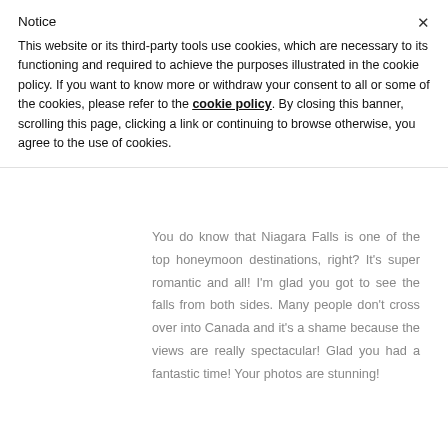Notice
This website or its third-party tools use cookies, which are necessary to its functioning and required to achieve the purposes illustrated in the cookie policy. If you want to know more or withdraw your consent to all or some of the cookies, please refer to the cookie policy. By closing this banner, scrolling this page, clicking a link or continuing to browse otherwise, you agree to the use of cookies.
You do know that Niagara Falls is one of the top honeymoon destinations, right? It's super romantic and all! I'm glad you got to see the falls from both sides. Many people don't cross over into Canada and it's a shame because the views are really spectacular! Glad you had a fantastic time! Your photos are stunning!